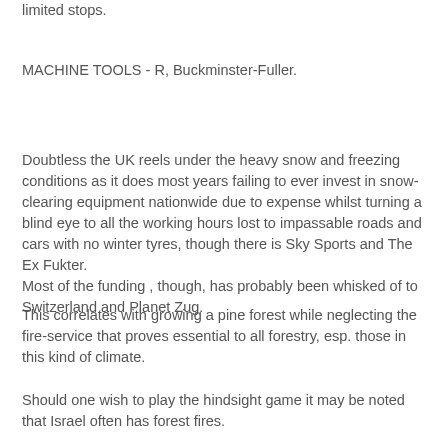limited stops.
MACHINE TOOLS - R, Buckminster-Fuller.
Doubtless the UK reels under the heavy snow and freezing conditions as it does most years failing to ever invest in snow-clearing equipment nationwide due to expense whilst turning a blind eye to all the working hours lost to impassable roads and cars with no winter tyres, though there is Sky Sports and The Ex Fukter.
Most of the funding , though, has probably been whisked of to Switzerland and Planet Zug.
This correlates with growing a pine forest while neglecting the fire-service that proves essential to all forestry, esp. those in this kind of climate.
Should one wish to play the hindsight game it may be noted that Israel often has forest fires.